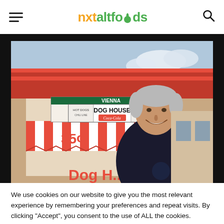nxtaltfoods [hamburger menu icon] [search icon]
[Figure (photo): Photo of a man smiling in front of the Dog House restaurant, featuring a red and white striped awning, a sign reading 'DOG HOUSE' with 'HOT DOGS', 'TAMALES', 'Coca-Cola', '35 cents', and 'VIENNA' visible on the building exterior.]
We use cookies on our website to give you the most relevant experience by remembering your preferences and repeat visits. By clicking “Accept”, you consent to the use of ALL the cookies.
Cookie settings
ACCEPT